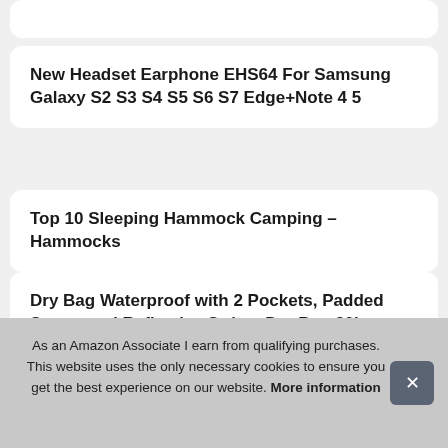New Headset Earphone EHS64 For Samsung Galaxy S2 S3 S4 S5 S6 S7 Edge+Note 4 5
Top 10 Sleeping Hammock Camping – Hammocks
Dry Bag Waterproof with 2 Pockets, Padded Straps and Reflective Stripe, Dry Bag 20l
D A L 3
As an Amazon Associate I earn from qualifying purchases. This website uses the only necessary cookies to ensure you get the best experience on our website. More information